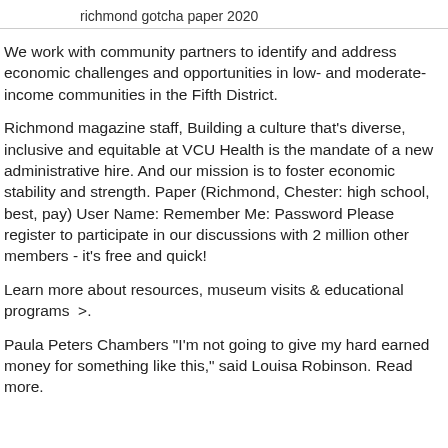richmond gotcha paper 2020
We work with community partners to identify and address economic challenges and opportunities in low- and moderate-income communities in the Fifth District.
Richmond magazine staff, Building a culture that's diverse, inclusive and equitable at VCU Health is the mandate of a new administrative hire. And our mission is to foster economic stability and strength. Paper (Richmond, Chester: high school, best, pay) User Name: Remember Me: Password Please register to participate in our discussions with 2 million other members - it's free and quick!
Learn more about resources, museum visits & educational programs  >.
Paula Peters Chambers "I'm not going to give my hard earned money for something like this," said Louisa Robinson. Read more.